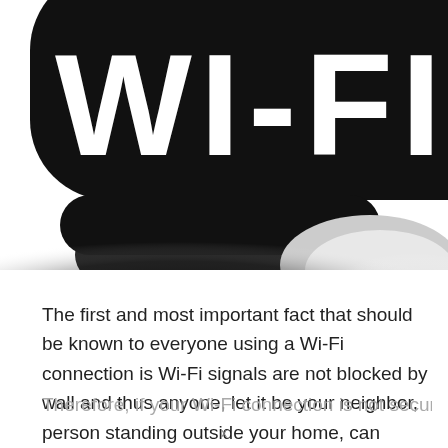[Figure (logo): Wi-Fi logo — large black rounded speech-bubble shape with white 'WI-FI' text, partially cropped at top, with shadow gradient at bottom]
The first and most important fact that should be known to everyone using a Wi-Fi connection is Wi-Fi signals are not blocked by wall and thus anyone, let it be your neighbor, person standing outside your home, can connect to internet using your bandwidth.
Therefore, if your Wi-Fi connection is not secure enough...